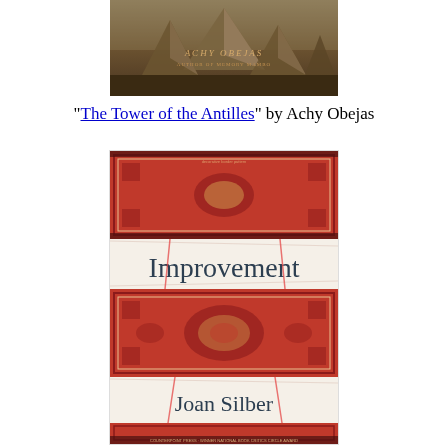[Figure (illustration): Book cover for 'The Tower of the Antilles' by Achy Obejas, showing stylized pyramid or origami-like shapes in browns and golds against a dark brown background, with the author name 'Achy Obejas' in decorative lettering]
"The Tower of the Antilles" by Achy Obejas
[Figure (illustration): Book cover for 'Improvement' by Joan Silber, showing a red ornate Persian/Turkish carpet or rug, split into three horizontal sections with white bands in between showing the title 'Improvement' and author name 'Joan Silber' in dark serif text]